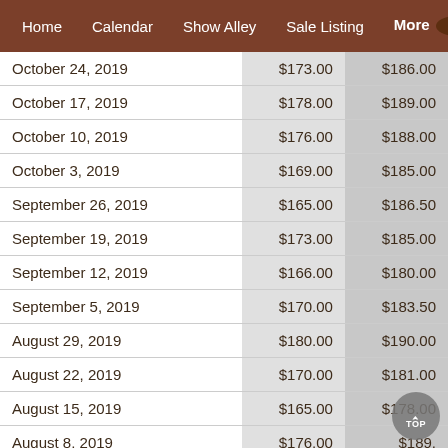Home   Calendar   Show Alley   Sale Listing   More ▼
|  |  |  |
| --- | --- | --- |
| October 24, 2019 | $173.00 | $186.00 |
| October 17, 2019 | $178.00 | $189.00 |
| October 10, 2019 | $176.00 | $188.00 |
| October 3, 2019 | $169.00 | $185.00 |
| September 26, 2019 | $165.00 | $186.50 |
| September 19, 2019 | $173.00 | $185.00 |
| September 12, 2019 | $166.00 | $180.00 |
| September 5, 2019 | $170.00 | $183.50 |
| August 29, 2019 | $180.00 | $190.00 |
| August 22, 2019 | $170.00 | $181.00 |
| August 15, 2019 | $165.00 | $178.00 |
| August 8, 2019 | $176.00 | $189.00 |
| August 1, 2019 | $176.00 | $188.00 |